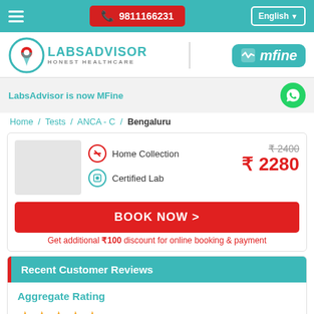☎ 9811166231  English
[Figure (logo): LabsAdvisor Honest Healthcare logo with teal circle and location pin icon]
[Figure (logo): mfine logo in teal rounded rectangle with heartbeat icon]
LabsAdvisor is now MFine
Home / Tests / ANCA - C / Bengaluru
[Figure (illustration): Lab/medical test placeholder image]
Home Collection
Certified Lab
₹ 2400 (strikethrough) ₹ 2280
BOOK NOW >
Get additional ₹100 discount for online booking & payment
Recent Customer Reviews
Aggregate Rating
4.6 Based on 236 reviews